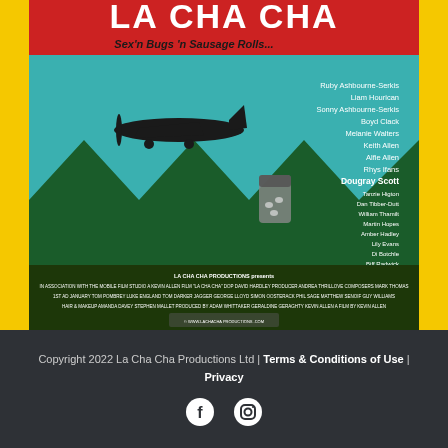[Figure (illustration): Movie poster for 'La Cha Cha' with tagline 'Sex'n Bugs 'n Sausage Rolls...' on a yellow and teal background featuring a small airplane, mountains, a pill bottle, and cast list including Ruby Ashbourne-Serkis, Liam Hourican, Sonny Ashbourne-Serkis, Boyd Clack, Melanie Walters, Keith Allen, Alfie Allen, Rhys Ifans, Dougray Scott, and others. Production credits at bottom.]
Copyright 2022 La Cha Cha Productions Ltd | Terms & Conditions of Use | Privacy